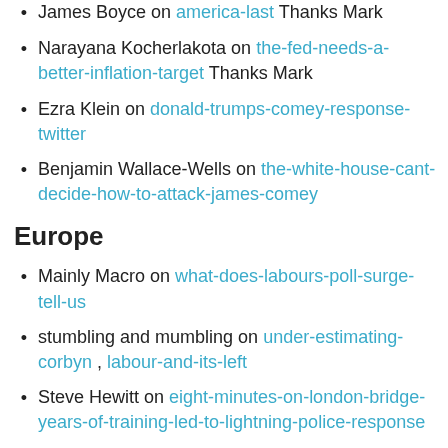James Boyce on america-last Thanks Mark
Narayana Kocherlakota on the-fed-needs-a-better-inflation-target Thanks Mark
Ezra Klein on donald-trumps-comey-response-twitter
Benjamin Wallace-Wells on the-white-house-cant-decide-how-to-attack-james-comey
Europe
Mainly Macro on what-does-labours-poll-surge-tell-us
stumbling and mumbling on under-estimating-corbyn , labour-and-its-left
Steve Hewitt on eight-minutes-on-london-bridge-years-of-training-led-to-lightning-police-response
Daniel Woker on angela-merkel-independent-not-alone
Variable Variability on Comrade-Trend-UK-general-election-polling
Seamus Coffey on june-2017-fiscal-assessment